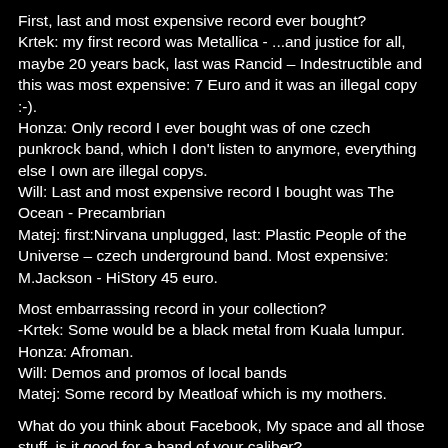First, last and most expensive record ever bought?
Krtek: my first record was Metallica - ...and justice for all, maybe 20 years back, last was Rancid – Indestructible and this was most expensive: 7 Euro and it was an illegal copy :-).
Honza: Only record I ever bought was of one czech punkrock band, which I don't listen to anymore, everything else I own are illegal copys.
Will: Last and most expensive record I bought was The Ocean - Precambrian
Matej: first:Nirvana unplugged, last: Plastic People of the Universe – czech underground band. Most expensive: M.Jackson - HiStory 45 euro.
Most embarrassing record in your collection?
-Krtek: Some would be a black metal from Kuala lumpur.
Honza: Afroman.
Will: Demos and promos of local bands
Matej: Some record by Meatloaf which is my mothers.
What do you think about Facebook, My space and all those stuff, is it good for a band of your caliber?
-Yes, people can listen to music from the other side of the world through this stuff. For bands like us, which are not supported by any worldwide label, this is almost the only